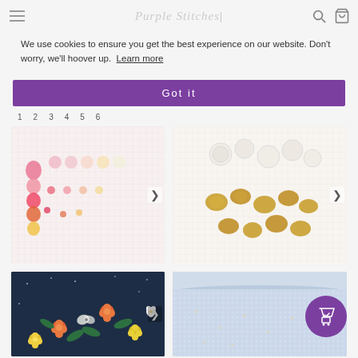Purple Stitches
We use cookies to ensure you get the best experience on our website. Don't worry, we'll hoover up. Learn more
Got it
1  2  3  4  5  6
[Figure (photo): Cross stitch fabric with colorful thread samples in pink, red, orange and yellow gradients]
[Figure (photo): Gold and pearl buttons scattered on white aida fabric]
[Figure (photo): Dark navy floral fabric with orange and yellow flowers, green leaves]
[Figure (photo): Light blue speckled cotton fabric rolled up]